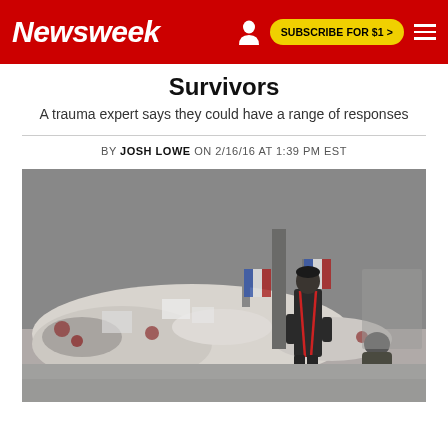Newsweek | SUBSCRIBE FOR $1 >
Survivors
A trauma expert says they could have a range of responses
BY JOSH LOWE ON 2/16/16 AT 1:39 PM EST
[Figure (photo): Black and white photo of people at a memorial site with flowers, flags, and tributes. A man in dark clothes with red suspenders stands looking at the memorial, another person crouches in the background. French flags visible among the tributes.]